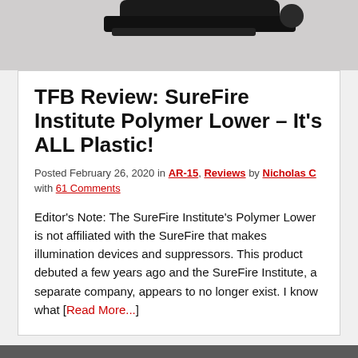[Figure (photo): Partial top view of a firearm (black rifle/gun parts visible against white/grey background)]
TFB Review: SureFire Institute Polymer Lower – It's ALL Plastic!
Posted February 26, 2020 in AR-15, Reviews by Nicholas C with 61 Comments
Editor's Note: The SureFire Institute's Polymer Lower is not affiliated with the SureFire that makes illumination devices and suppressors. This product debuted a few years ago and the SureFire Institute, a separate company, appears to no longer exist. I know what [Read More...]
[Figure (photo): Close-up photo of a firearm lower receiver assembly on a workbench, showing metal components. A reCAPTCHA badge appears in the bottom right corner.]